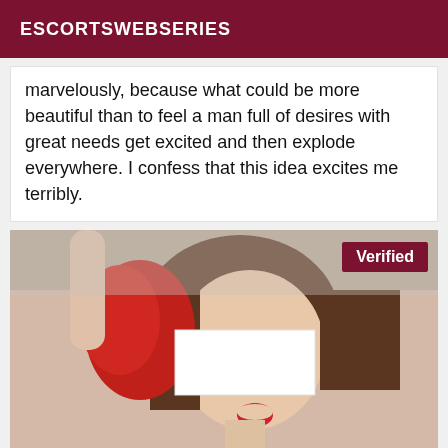ESCORTSWEBSERIES
marvelously, because what could be more beautiful than to feel a man full of desires with great needs get excited and then explode everywhere. I confess that this idea excites me terribly.
[Figure (photo): Woman with short brown hair holding red lingerie, face redacted with white rectangle, mouth open, wearing light-colored top. 'Verified' badge in top-right corner.]